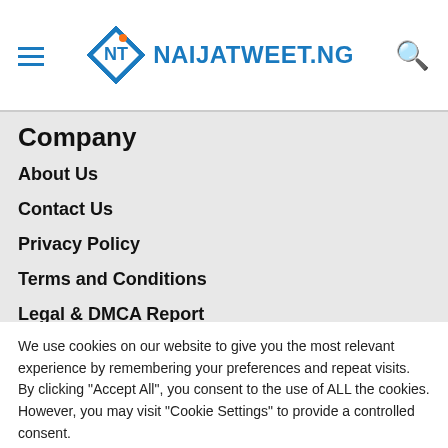NAIJATWEET.NG
Company
About Us
Contact Us
Privacy Policy
Terms and Conditions
Legal & DMCA Report
We use cookies on our website to give you the most relevant experience by remembering your preferences and repeat visits. By clicking "Accept All", you consent to the use of ALL the cookies. However, you may visit "Cookie Settings" to provide a controlled consent.
Cookie Settings | Accept All